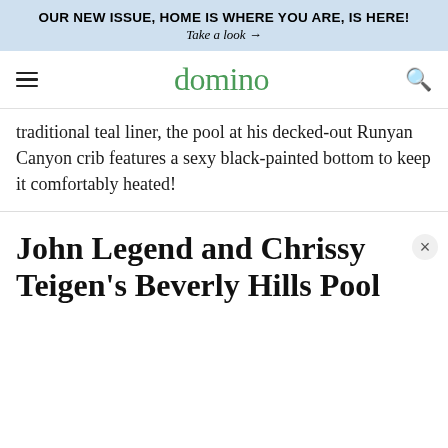OUR NEW ISSUE, HOME IS WHERE YOU ARE, IS HERE! Take a look →
domino
traditional teal liner, the pool at his decked-out Runyan Canyon crib features a sexy black-painted bottom to keep it comfortably heated!
John Legend and Chrissy Teigen's Beverly Hills Pool